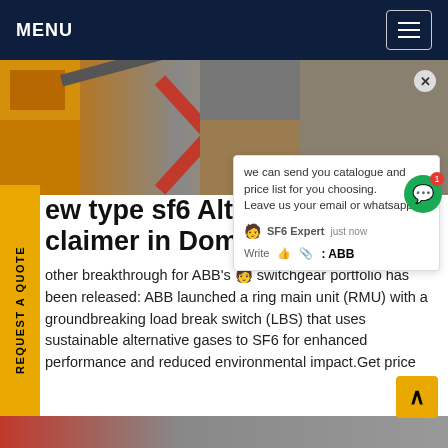MENU
[Figure (photo): Construction equipment – yellow machinery and red cross-braced structure at a worksite]
New type sf6 Alternative gases Disclaimer in Dominica
Another breakthrough for ABB's switchgear portfolio has been released: ABB launched a ring main unit (RMU) with a groundbreaking load break switch (LBS) that uses sustainable alternative gases to SF6 for enhanced performance and reduced environmental impact.Get price
[Figure (photo): Bottom strip showing construction/industrial equipment in red and grey]